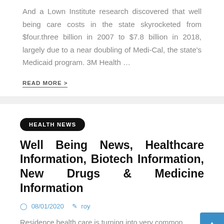And a Lown Institute research discovered that well being care costs in the state skyrocketed from $four.three billion in 2007 to $7.8 billion in 2018, largely due to a near doubling of Medi-Cal, the state's Medicaid program. 3M Health …
READ MORE >
HEALTH NEWS
Well Being News, Healthcare Information, Biotech Information, New Drugs & Medicine Information
08/01/2020  roy
Residence health care is turning into very common…